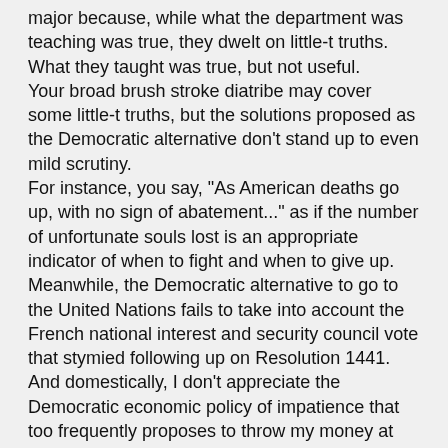major because, while what the department was teaching was true, they dwelt on little-t truths. What they taught was true, but not useful.
Your broad brush stroke diatribe may cover some little-t truths, but the solutions proposed as the Democratic alternative don't stand up to even mild scrutiny.
For instance, you say, "As American deaths go up, with no sign of abatement..." as if the number of unfortunate souls lost is an appropriate indicator of when to fight and when to give up. Meanwhile, the Democratic alternative to go to the United Nations fails to take into account the French national interest and security council vote that stymied following up on Resolution 1441.
And domestically, I don't appreciate the Democratic economic policy of impatience that too frequently proposes to throw my money at other people's problems as if it is likely to be a solution.
So, whatever the Republican failings, too many arguments for an alternative to Bush come across as shrill and thin. If Bush wins, it will be for lack of a credible alternative proposing a sensible future.
In other words, your current arguments are unconvincing